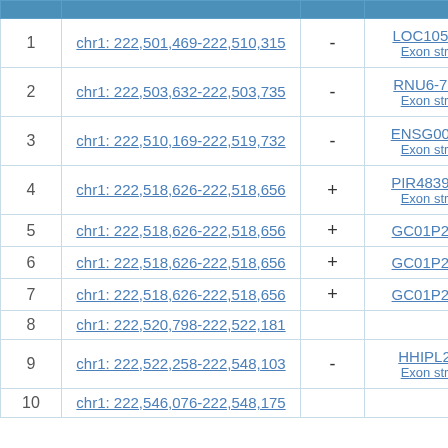|  | Location | Strand | Gene |
| --- | --- | --- | --- |
| 1 | chr1: 222,501,469-222,510,315 | - | LOC1053...
Exon str... |
| 2 | chr1: 222,503,632-222,503,735 | - | RNU6-79...
Exon str... |
| 3 | chr1: 222,510,169-222,519,732 | - | ENSG000...
Exon str... |
| 4 | chr1: 222,518,626-222,518,656 | + | PIR48393...
Exon str... |
| 5 | chr1: 222,518,626-222,518,656 | + | GC01P22... |
| 6 | chr1: 222,518,626-222,518,656 | + | GC01P22... |
| 7 | chr1: 222,518,626-222,518,656 | + | GC01P22... |
| 8 | chr1: 222,520,798-222,522,181 |  |  |
| 9 | chr1: 222,522,258-222,548,103 | - | HHIPL2...
Exon str... |
| 10 | chr1: 222,546,076-222,548,175 |  |  |